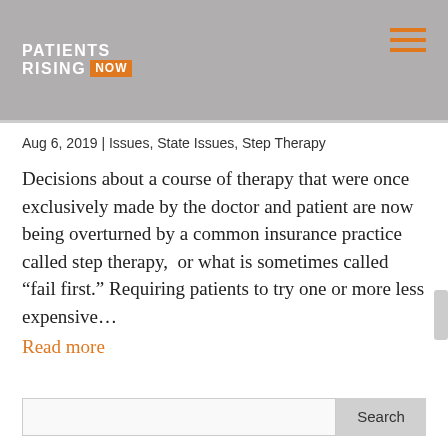PATIENTS RISING NOW
Aug 6, 2019 | Issues, State Issues, Step Therapy
Decisions about a course of therapy that were once exclusively made by the doctor and patient are now being overturned by a common insurance practice called step therapy,  or what is sometimes called “fail first.” Requiring patients to try one or more less expensive…
Read more